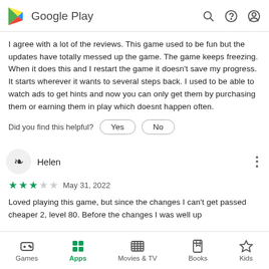Google Play
I agree with a lot of the reviews. This game used to be fun but the updates have totally messed up the game. The game keeps freezing. When it does this and I restart the game it doesn't save my progress. It starts wherever it wants to several steps back. I used to be able to watch ads to get hints and now you can only get them by purchasing them or earning them in play which doesnt happen often.
Did you find this helpful? Yes No
Helen
★★★ May 31, 2022
Loved playing this game, but since the changes I can't get passed cheaper 2, level 80. Before the changes I was well up
Games  Apps  Movies & TV  Books  Kids